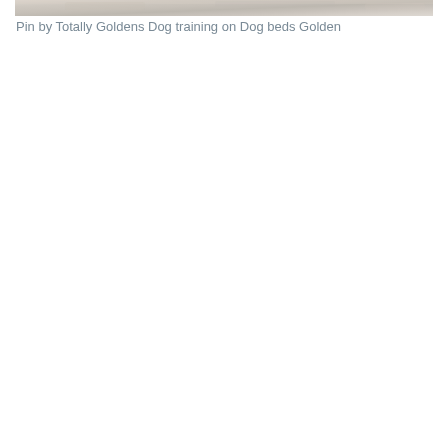[Figure (photo): Partial view of a golden retriever dog on a dog bed, showing light-colored fur and soft bedding in muted warm tones]
Pin by Totally Goldens Dog training on Dog beds Golden